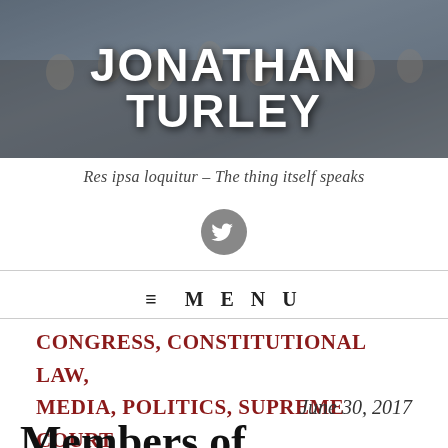[Figure (illustration): Header banner showing a historical painting of the Founding Fathers/Constitutional Convention with dark overlay]
JONATHAN TURLEY
Res ipsa loquitur – The thing itself speaks
[Figure (logo): Twitter bird icon inside a dark gray circle]
≡ MENU
CONGRESS, CONSTITUTIONAL LAW, MEDIA, POLITICS, SUPREME COURT
June 30, 2017
Members of